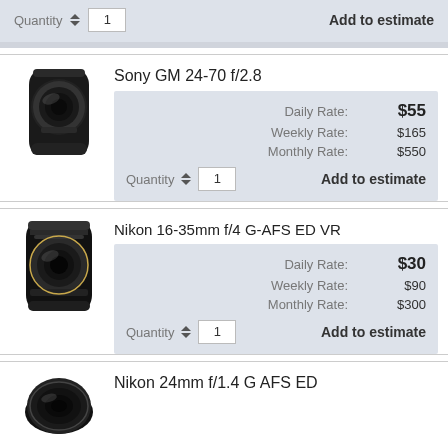Quantity 1
Add to estimate
Sony GM 24-70 f/2.8
| Rate Type | Price |
| --- | --- |
| Daily Rate: | $55 |
| Weekly Rate: | $165 |
| Monthly Rate: | $550 |
Quantity 1
Add to estimate
Nikon 16-35mm f/4 G-AFS ED VR
| Rate Type | Price |
| --- | --- |
| Daily Rate: | $30 |
| Weekly Rate: | $90 |
| Monthly Rate: | $300 |
Quantity 1
Add to estimate
Nikon 24mm f/1.4 G AFS ED